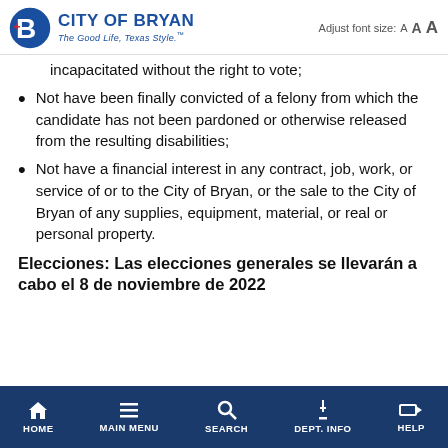CITY OF BRYAN — The Good Life, Texas Style. | Adjust font size: A A A
incapacitated without the right to vote;
Not have been finally convicted of a felony from which the candidate has not been pardoned or otherwise released from the resulting disabilities;
Not have a financial interest in any contract, job, work, or service of or to the City of Bryan, or the sale to the City of Bryan of any supplies, equipment, material, or real or personal property.
Elecciones: Las elecciones generales se llevarán a cabo el 8 de noviembre de 2022
HOME | MAIN MENU | SEARCH | DEPT. INFO | HELP